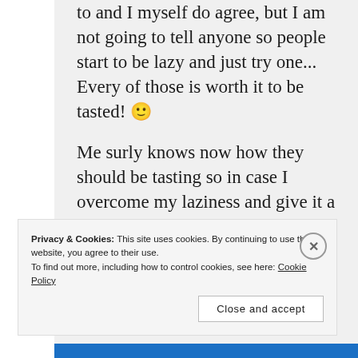to and I myself do agree, but I am not going to tell anyone so people start to be lazy and just try one... Every of those is worth it to be tasted! 🙂

Me surly knows now how they should be tasting so in case I overcome my laziness and give it a shot myself I will be sure I didn't match the original taste. Obviously I spread the words where to
Privacy & Cookies: This site uses cookies. By continuing to use this website, you agree to their use.
To find out more, including how to control cookies, see here: Cookie Policy
[Close and accept]